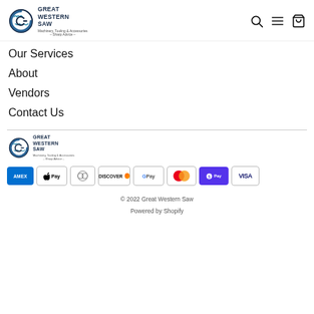[Figure (logo): Great Western Saw logo with stylized G and saw blade, text: GREAT WESTERN SAW, Machinery, Tooling & Accessories – Sharp Advice –]
Our Services
About
Vendors
Contact Us
[Figure (logo): Great Western Saw footer logo]
[Figure (infographic): Payment method badges: American Express, Apple Pay, Diners Club, Discover, Google Pay, Mastercard, Shop Pay, Visa]
© 2022 Great Western Saw
Powered by Shopify